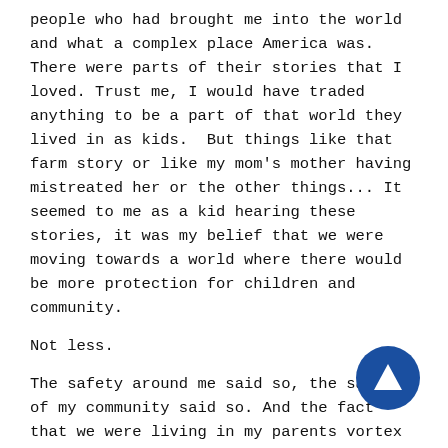people who had brought me into the world and what a complex place America was. There were parts of their stories that I loved. Trust me, I would have traded anything to be a part of that world they lived in as kids.  But things like that farm story or like my mom's mother having mistreated her or the other things... It seemed to me as a kid hearing these stories, it was my belief that we were moving towards a world where there would be more protection for children and community.
Not less.
The safety around me said so, the safety of my community said so. And the fact that we were living in my parents vortex of positivity and baby boom abundance said so.
In 1979, everything in my life attested to it.
And I think that somehow, so many years later, when I ran into little homie on the corner of Peralta and 7th, the same corner that Marcus Garvey organized on in the 30's and the Black Panthers organized on in the 60's and 70's, I think all the lessons and the stories that I heard at that table, and my own my little buddies... kids whose families were taking refuge here from all over the world whose moms were
[Figure (other): Blue circular navigation button with upward-pointing triangle/arrow icon]